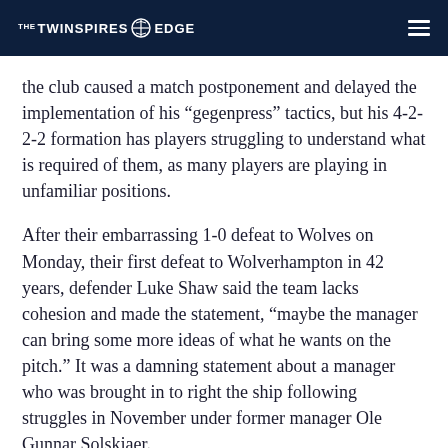THE TWINSPIRES EDGE
the club caused a match postponement and delayed the implementation of his “gegenpress” tactics, but his 4-2-2-2 formation has players struggling to understand what is required of them, as many players are playing in unfamiliar positions.
After their embarrassing 1-0 defeat to Wolves on Monday, their first defeat to Wolverhampton in 42 years, defender Luke Shaw said the team lacks cohesion and made the statement, “maybe the manager can bring some more ideas of what he wants on the pitch.” It was a damning statement about a manager who was brought in to right the ship following struggles in November under former manager Ole Gunnar Solskjaer.